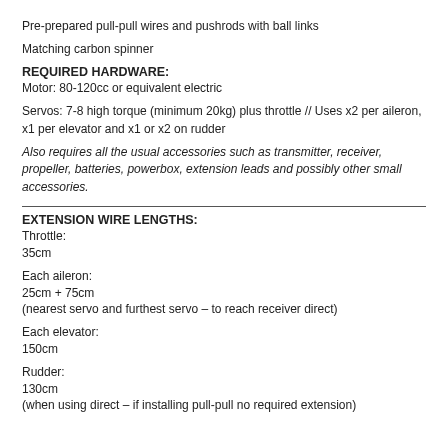Pre-prepared pull-pull wires and pushrods with ball links
Matching carbon spinner
REQUIRED HARDWARE:
Motor: 80-120cc or equivalent electric
Servos: 7-8 high torque (minimum 20kg) plus throttle // Uses x2 per aileron, x1 per elevator and x1 or x2 on rudder
Also requires all the usual accessories such as transmitter, receiver, propeller, batteries, powerbox, extension leads and possibly other small accessories.
EXTENSION WIRE LENGTHS:
Throttle:
35cm
Each aileron:
25cm + 75cm
(nearest servo and furthest servo – to reach receiver direct)
Each elevator:
150cm
Rudder:
130cm
(when using direct – if installing pull-pull no required extension)